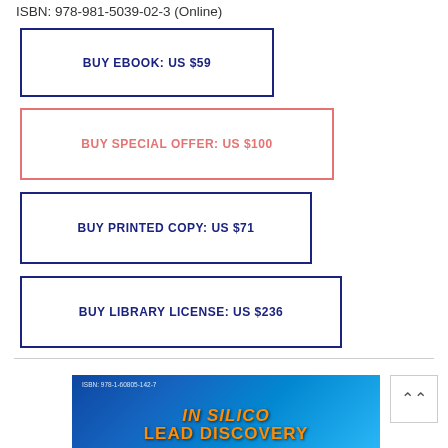ISBN: 978-981-5039-02-3 (Online)
BUY EBOOK: US $59
BUY SPECIAL OFFER: US $100
BUY PRINTED COPY: US $71
BUY LIBRARY LICENSE: US $236
[Figure (photo): Book cover of 'In Silico Lead Discovery' — blue background with pixelated digital pattern, ISBN 978-1-60805-142-7, title in bold orange italic text]